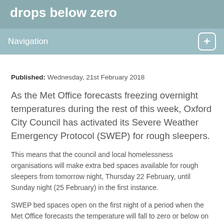drops below zero
Navigation
Published: Wednesday, 21st February 2018
As the Met Office forecasts freezing overnight temperatures during the rest of this week, Oxford City Council has activated its Severe Weather Emergency Protocol (SWEP) for rough sleepers.
This means that the council and local homelessness organisations will make extra bed spaces available for rough sleepers from tomorrow night, Thursday 22 February, until Sunday night (25 February) in the first instance.
SWEP bed spaces open on the first night of a period when the Met Office forecasts the temperature will fall to zero or below on three or more consecutive nights. When SWEP is activated, emergency accommodation is available for anyone who wants to come inside